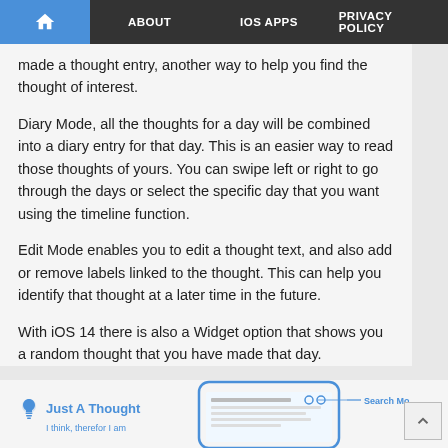Home | ABOUT | IOS APPS | PRIVACY POLICY
made a thought entry, another way to help you find the thought of interest.
Diary Mode, all the thoughts for a day will be combined into a diary entry for that day. This is an easier way to read those thoughts of yours. You can swipe left or right to go through the days or select the specific day that you want using the timeline function.
Edit Mode enables you to edit a thought text, and also add or remove labels linked to the thought. This can help you identify that thought at a later time in the future.
With iOS 14 there is also a Widget option that shows you a random thought that you have made that day.
[Figure (screenshot): App branding 'Just A Thought - I think, therefor I am' with lightbulb icon, and partial screenshot of iPhone app showing Search Mode label]